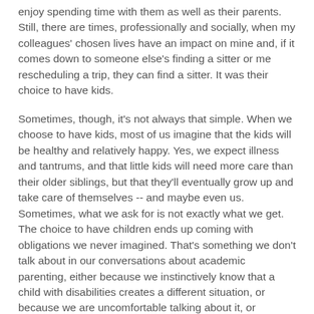enjoy spending time with them as well as their parents. Still, there are times, professionally and socially, when my colleagues' chosen lives have an impact on mine and, if it comes down to someone else's finding a sitter or me rescheduling a trip, they can find a sitter. It was their choice to have kids.
Sometimes, though, it's not always that simple. When we choose to have kids, most of us imagine that the kids will be healthy and relatively happy. Yes, we expect illness and tantrums, and that little kids will need more care than their older siblings, but that they'll eventually grow up and take care of themselves -- and maybe even us. Sometimes, what we ask for is not exactly what we get. The choice to have children ends up coming with obligations we never imagined. That's something we don't talk about in our conversations about academic parenting, either because we instinctively know that a child with disabilities creates a different situation, or because we are uncomfortable talking about it, or because we have mixed feelings about how to deal with our colleagues when the colleagues may themselves not be dealing well -- or when they seem to be dealing very well